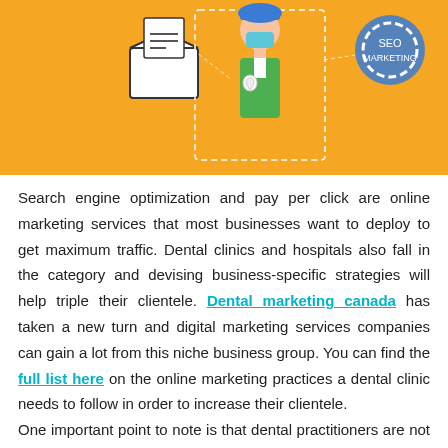[Figure (illustration): Orange background illustration showing a dental professional (person in green coat with tooth badge), an envelope with letter, and a circular badge/gear element. Dotted border rectangle framing the dental professional.]
Search engine optimization and pay per click are online marketing services that most businesses want to deploy to get maximum traffic. Dental clinics and hospitals also fall in the category and devising business-specific strategies will help triple their clientele. Dental marketing canada has taken a new turn and digital marketing services companies can gain a lot from this niche business group. You can find the full list here on the online marketing practices a dental clinic needs to follow in order to increase their clientele.
One important point to note is that dental practitioners are not very tech-savvy. They may use social media